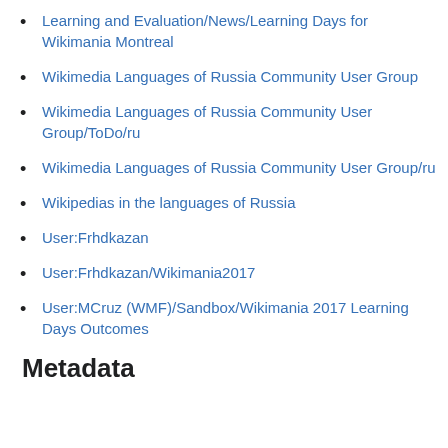Learning and Evaluation/News/Learning Days for Wikimania Montreal
Wikimedia Languages of Russia Community User Group
Wikimedia Languages of Russia Community User Group/ToDo/ru
Wikimedia Languages of Russia Community User Group/ru
Wikipedias in the languages of Russia
User:Frhdkazan
User:Frhdkazan/Wikimania2017
User:MCruz (WMF)/Sandbox/Wikimania 2017 Learning Days Outcomes
Metadata